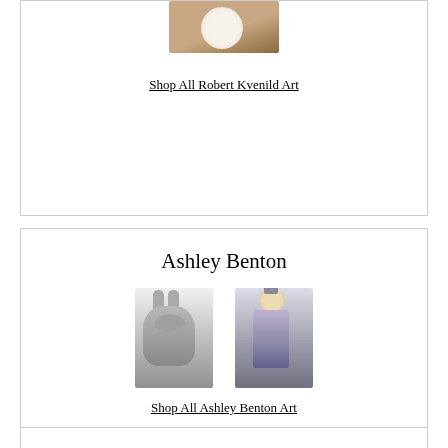[Figure (photo): Partial image of a sculpture by Robert Kvenild, cropped at top — shows a rounded white/cream object on a wooden surface]
Shop All Robert Kvenild Art
Ashley Benton
[Figure (photo): Two ceramic sculptures by Ashley Benton: left is a grey bunny-faced bust with ears; right is a standing figure with an oversized head and mohawk-style hair, wearing a silver outfit]
Shop All Ashley Benton Art